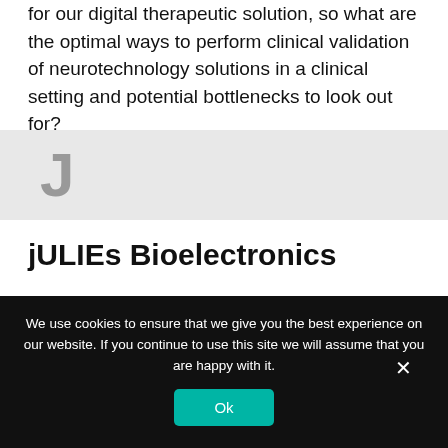for our digital therapeutic solution, so what are the optimal ways to perform clinical validation of neurotechnology solutions in a clinical setting and potential bottlenecks to look out for?
[Figure (other): Gray background block with large letter 'J' in bold gray font, indicating an alphabetical section divider]
jULIEs Bioelectronics
We use cookies to ensure that we give you the best experience on our website. If you continue to use this site we will assume that you are happy with it.